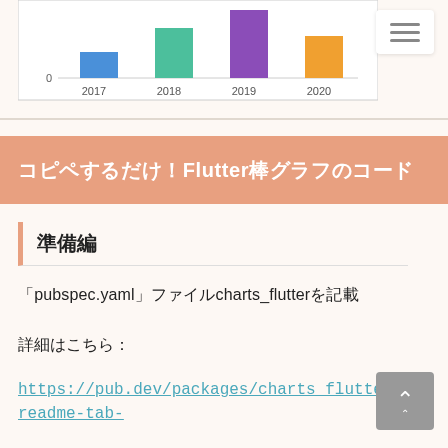[Figure (bar-chart): Partial bar chart showing bars for years 2017 (blue), 2018 (teal/green), 2019 (purple), 2020 (orange) with y-axis starting at 0]
コピペするだけ！Flutter棒グラフのコード
準備編
「pubspec.yaml」ファイルcharts_flutterを記載
詳細はこちら：
https://pub.dev/packages/charts_flutter#-readme-tab-